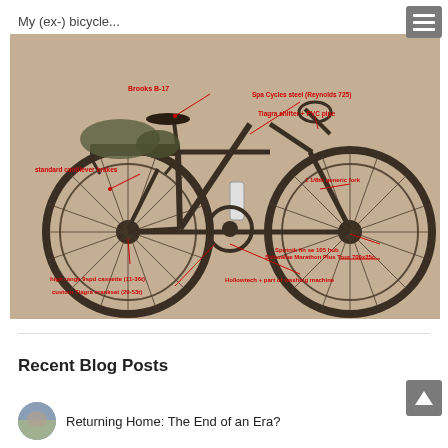My (ex-) bicycle...
[Figure (photo): Annotated photograph of a touring bicycle loaded with gear. Red text labels point to various components: Brooks B-17 (saddle), Spa Cycles steel Reynolds 725 (frame), Tiagra shifter + PVC pipe, standard cantilever brakes, 1 1/8th generic fork, Schwalbe Marathon Plus Tour 700x35c (tires), Sputnik Fin se 105 hub, Hollowtech + part of washing machine (bottom bracket), high range 9spd cassette (11-36t), custom Tiagra crankset (29-53t).]
Recent Blog Posts
Returning Home: The End of an Era?